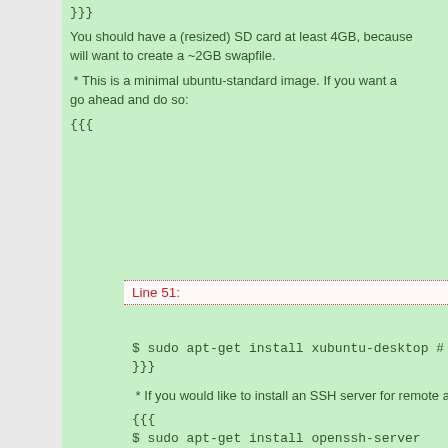}}}
You should have a (resized) SD card at least 4GB, because will want to create a ~2GB swapfile.
* This is a minimal ubuntu-standard image. If you want a go ahead and do so:
{{{
Line 51:
$ sudo apt-get install xubuntu-desktop # etc
}}}
* If you would like to install an SSH server for remote acc
{{{
$ sudo apt-get install openssh-server
}}}